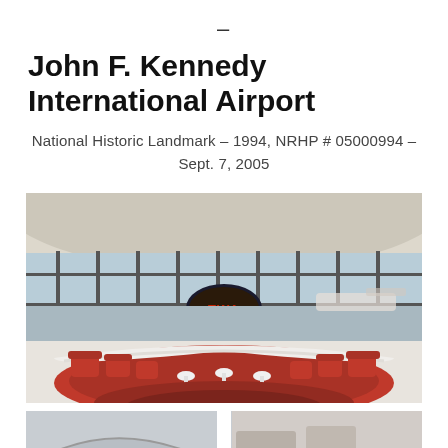–
John F. Kennedy International Airport
National Historic Landmark – 1994, NRHP # 05000994 – Sept. 7, 2005
[Figure (photo): Interior of the TWA Hotel lounge at JFK Airport, showing a sunken red circular seating area with red armchairs and tulip stools, large curved glass windows overlooking the tarmac, and a TWA logo medallion above.]
[Figure (photo): Partial view of another photo at the bottom of the page, cropped.]